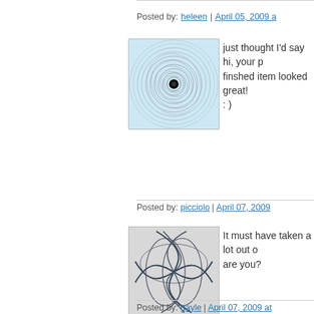Posted by: heleen | April 05, 2009 a...
[Figure (illustration): Avatar image with green spiral pattern]
just thought I'd say hi, your p... finshed item looked great!
: )
Posted by: picciolo | April 07, 2009...
[Figure (illustration): Avatar image with dark curved lines on light background]
It must have taken a lot out o... are you?
Posted by: gayle | April 07, 2009 at...
[Figure (illustration): Avatar image with blue geometric snowflake pattern]
Well, you had me convinced... This is a good thing, given yo... beautiful (and as a result, effe... sewing machine would have... speed, out the nearest windo...
Posted by: Tania | April 08, 2009 at...
[Figure (illustration): Avatar image partially visible at bottom]